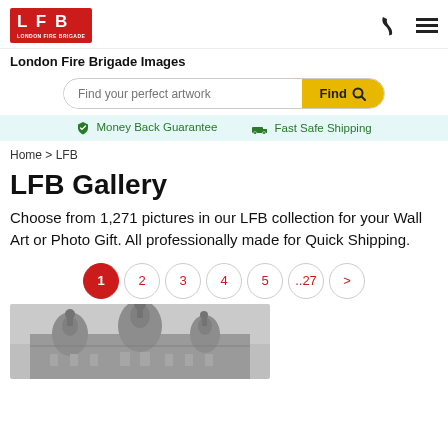[Figure (logo): LFB London Fire Brigade red square logo]
London Fire Brigade Images
[Figure (screenshot): Search bar with text 'Find your perfect artwork' and yellow Find button with magnifying glass icon]
Money Back Guarantee   Fast Safe Shipping
Home > LFB
LFB Gallery
Choose from 1,271 pictures in our LFB collection for your Wall Art or Photo Gift. All professionally made for Quick Shipping.
1  2  3  4  5  ..27  >
[Figure (photo): Black and white historic photograph of a building with domed towers and ornate architecture, partially visible]